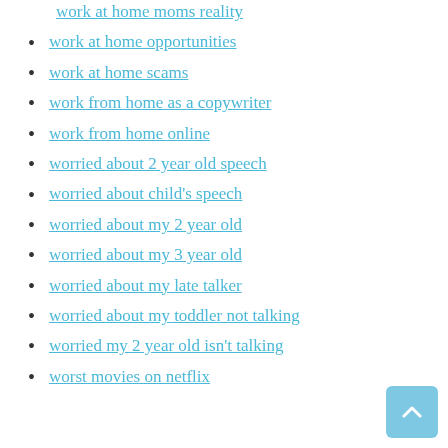work at home moms reality
work at home opportunities
work at home scams
work from home as a copywriter
work from home online
worried about 2 year old speech
worried about child's speech
worried about my 2 year old
worried about my 3 year old
worried about my late talker
worried about my toddler not talking
worried my 2 year old isn't talking
worst movies on netflix